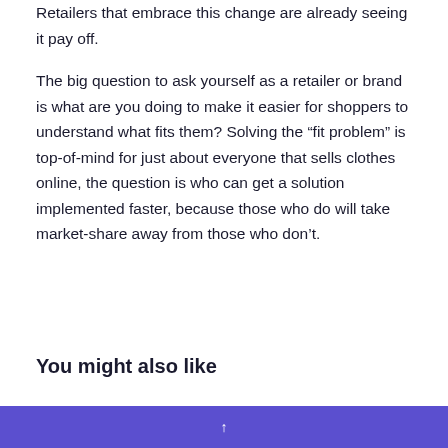Retailers that embrace this change are already seeing it pay off.
The big question to ask yourself as a retailer or brand is what are you doing to make it easier for shoppers to understand what fits them? Solving the “fit problem” is top-of-mind for just about everyone that sells clothes online, the question is who can get a solution implemented faster, because those who do will take market-share away from those who don’t.
You might also like
↑